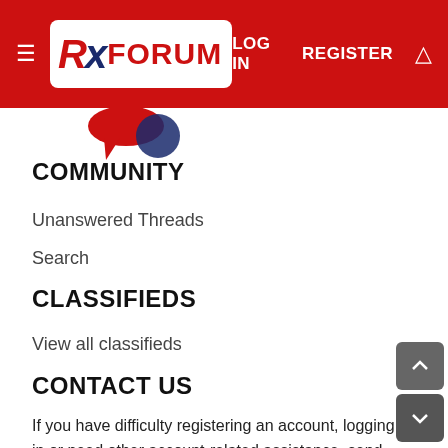RX FORUM — LOG IN  REGISTER
COMMUNITY
Unanswered Threads
Search
CLASSIFIEDS
View all classifieds
CONTACT US
If you have difficulty registering an account, logging in or need other account-related assistance, send us a message and we'll get back to you shortly. Do not use this link to ask for help with RV-related issues; Ask those questions in one of our forums. Contact Us